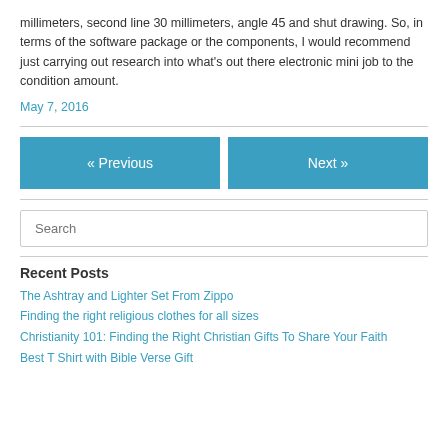millimeters, second line 30 millimeters, angle 45 and shut drawing. So, in terms of the software package or the components, I would recommend just carrying out research into what's out there electronic mini job to the condition amount.
May 7, 2016
« Previous
Next »
Search
Recent Posts
The Ashtray and Lighter Set From Zippo
Finding the right religious clothes for all sizes
Christianity 101: Finding the Right Christian Gifts To Share Your Faith
Best T Shirt with Bible Verse Gift